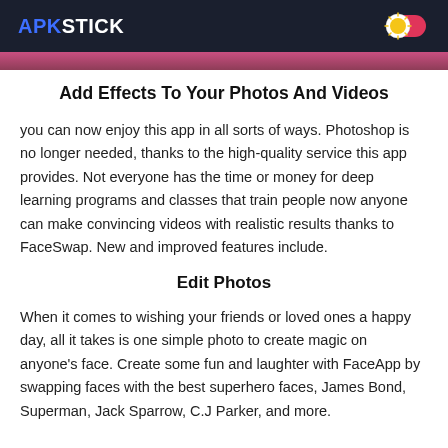APKSTICK
Add Effects To Your Photos And Videos
you can now enjoy this app in all sorts of ways. Photoshop is no longer needed, thanks to the high-quality service this app provides. Not everyone has the time or money for deep learning programs and classes that train people now anyone can make convincing videos with realistic results thanks to FaceSwap. New and improved features include.
Edit Photos
When it comes to wishing your friends or loved ones a happy day, all it takes is one simple photo to create magic on anyone's face. Create some fun and laughter with FaceApp by swapping faces with the best superhero faces, James Bond, Superman, Jack Sparrow, C.J Parker, and more.